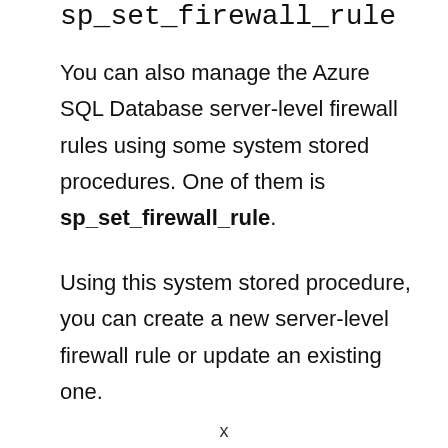sp_set_firewall_rule
You can also manage the Azure SQL Database server-level firewall rules using some system stored procedures. One of them is sp_set_firewall_rule.
Using this system stored procedure, you can create a new server-level firewall rule or update an existing one.
x